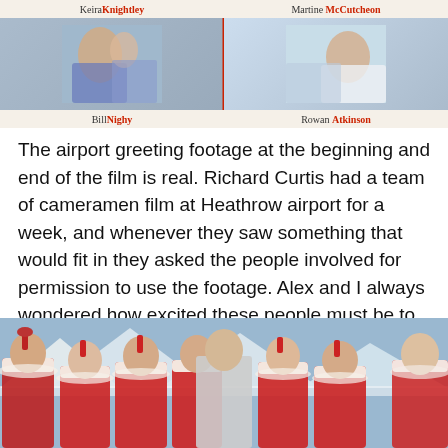[Figure (photo): Movie poster banner showing actors Keira Knightley, Martine McCutcheon (top row), Bill Nighy, Rowan Atkinson (bottom row) from Love Actually]
The airport greeting footage at the beginning and end of the film is real. Richard Curtis had a team of cameramen film at Heathrow airport for a week, and whenever they saw something that would fit in they asked the people involved for permission to use the footage. Alex and I always wondered how excited these people must be to be in the film forever!
[Figure (photo): Group photo of cast members in Christmas costumes — women in red outfits with white fur trim and festive hats, with a man in the center in a grey suit, set against a snowy mountain background]